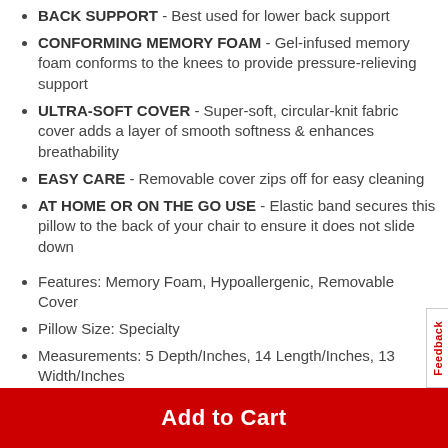BACK SUPPORT - Best used for lower back support
CONFORMING MEMORY FOAM - Gel-infused memory foam conforms to the knees to provide pressure-relieving support
ULTRA-SOFT COVER - Super-soft, circular-knit fabric cover adds a layer of smooth softness & enhances breathability
EASY CARE - Removable cover zips off for easy cleaning
AT HOME OR ON THE GO USE - Elastic band secures this pillow to the back of your chair to ensure it does not slide down
Features: Memory Foam, Hypoallergenic, Removable Cover
Pillow Size: Specialty
Measurements: 5 Depth/Inches, 14 Length/Inches, 13 Width/Inches